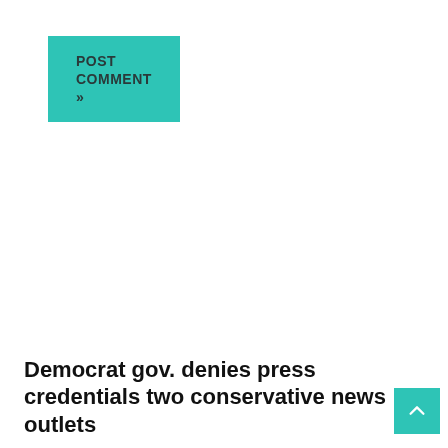[Figure (other): POST COMMENT » button with teal/turquoise background]
[Figure (other): Search box with placeholder text 'Search ...' and a search icon on the right]
Democrat gov. denies press credentials two conservative news outlets
[Figure (other): Scroll to top button with teal background and upward chevron arrow]